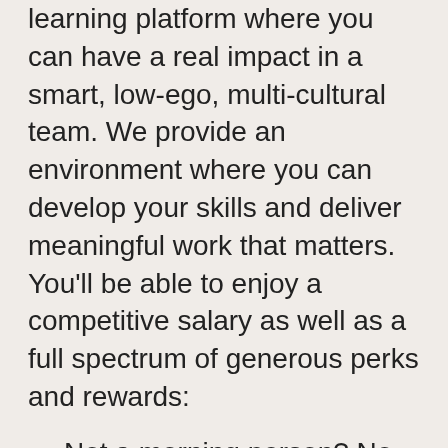You will be joining the world's first social learning platform where you can have a real impact in a smart, low-ego, multi-cultural team. We provide an environment where you can develop your skills and deliver meaningful work that matters. You'll be able to enjoy a competitive salary as well as a full spectrum of generous perks and rewards:
Not a morning person? No problem! We offer flexitime and a great work-life balance, including 2-3 days working from home per week